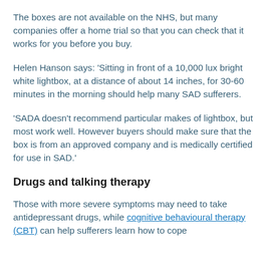The boxes are not available on the NHS, but many companies offer a home trial so that you can check that it works for you before you buy.
Helen Hanson says: 'Sitting in front of a 10,000 lux bright white lightbox, at a distance of about 14 inches, for 30-60 minutes in the morning should help many SAD sufferers.
'SADA doesn't recommend particular makes of lightbox, but most work well. However buyers should make sure that the box is from an approved company and is medically certified for use in SAD.'
Drugs and talking therapy
Those with more severe symptoms may need to take antidepressant drugs, while cognitive behavioural therapy (CBT) can help sufferers learn how to cope